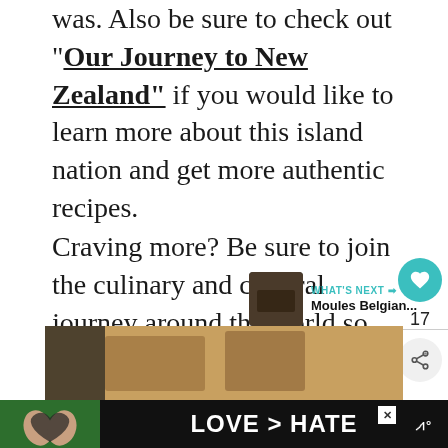was. Also be sure to check out "Our Journey to New Zealand" if you would like to learn more about this island nation and get more authentic recipes.
Craving more?  Be sure to join the culinary and cultural journey around the world so you don't miss a thing.  It's free and you can also follow me on Instagram, Facebook, Pinterest and youtube to follow along our journey.
[Figure (infographic): Social sidebar with heart/like button showing 17, and share button]
[Figure (infographic): What's Next widget showing thumbnail and text: Moules Belgian...]
[Figure (photo): Partial food photo strip at bottom]
[Figure (infographic): Advertisement banner: LOVE > HATE with hands forming heart shape, close button and logo]